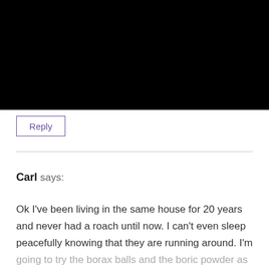[Figure (other): Black image block at top of page]
Reply
Carl says:
Ok I've been living in the same house for 20 years and never had a roach until now. I can't even sleep peacefully knowing that they are running around. I'm going to try the borax balls and the boric powder as